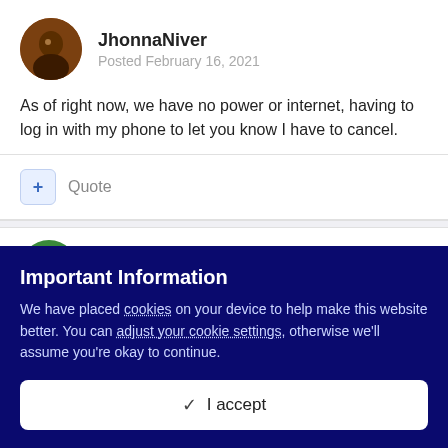JhonnaNiver
Posted February 16, 2021
As of right now, we have no power or internet, having to log in with my phone to let you know I have to cancel.
Quote
Shayla Rucker (732)
Important Information
We have placed cookies on your device to help make this website better. You can adjust your cookie settings, otherwise we'll assume you're okay to continue.
I accept